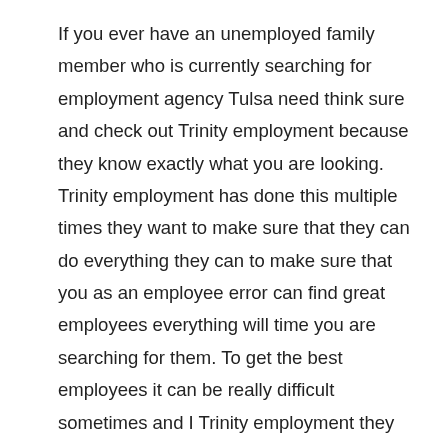If you ever have an unemployed family member who is currently searching for employment agency Tulsa need think sure and check out Trinity employment because they know exactly what you are looking. Trinity employment has done this multiple times they want to make sure that they can do everything they can to make sure that you as an employee error can find great employees everything will time you are searching for them. To get the best employees it can be really difficult sometimes and I Trinity employment they want to make sure that their finding you quality employees they understand and